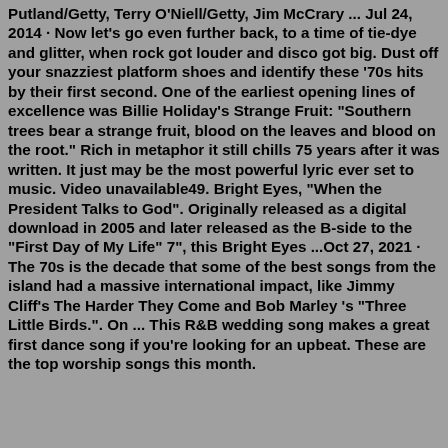Putland/Getty, Terry O'Niell/Getty, Jim McCrary ... Jul 24, 2014 · Now let's go even further back, to a time of tie-dye and glitter, when rock got louder and disco got big. Dust off your snazziest platform shoes and identify these '70s hits by their first second. One of the earliest opening lines of excellence was Billie Holiday's Strange Fruit: "Southern trees bear a strange fruit, blood on the leaves and blood on the root." Rich in metaphor it still chills 75 years after it was written. It just may be the most powerful lyric ever set to music. Video unavailable49. Bright Eyes, "When the President Talks to God". Originally released as a digital download in 2005 and later released as the B-side to the "First Day of My Life" 7", this Bright Eyes ...Oct 27, 2021 · The 70s is the decade that some of the best songs from the island had a massive international impact, like Jimmy Cliff's The Harder They Come and Bob Marley 's "Three Little Birds.". On ... This R&B wedding song makes a great first dance song if you're looking for an upbeat. These are the top worship songs this month.